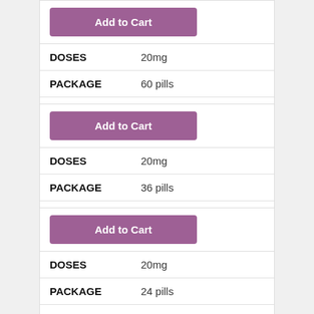| Field | Value |
| --- | --- |
| DOSES | 20mg |
| PACKAGE | 60 pills |
| PRICE | $155.40 |
Add to Cart
| Field | Value |
| --- | --- |
| DOSES | 20mg |
| PACKAGE | 36 pills |
| PRICE | $122.04 |
Add to Cart
| Field | Value |
| --- | --- |
| DOSES | 20mg |
| PACKAGE | 24 pills |
| PRICE | $107.04 |
Add to Cart